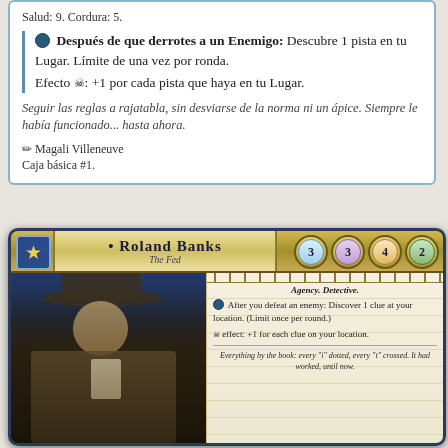Salud: 9. Cordura: 5.
⟳ Después de que derrotes a un Enemigo: Descubre 1 pista en tu Lugar. Límite de una vez por ronda.
Efecto ☠: +1 por cada pista que haya en tu Lugar.
Seguir las reglas a rajatabla, sin desviarse de la norma ni un ápice. Siempre le había funcionado... hasta ahora.
✏ Magali Villeneuve
Caja básica #1.
[Figure (illustration): Roland Banks investigator card from Arkham Horror: The Card Game. Shows a detective in a hat and trenchcoat. Card stats: 3 willpower, 3 intellect, 4 combat, 2 agility. Agency. Detective. After you defeat an enemy: Discover 1 clue at your location. (Limit once per round.) effect: +1 for each clue on your location. Flavor text: Everything by the book: every 'i' dotted, every 't' crossed. It had worked, until now.]